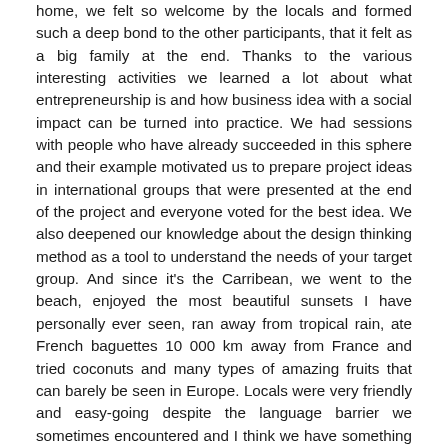home, we felt so welcome by the locals and formed such a deep bond to the other participants, that it felt as a big family at the end. Thanks to the various interesting activities we learned a lot about what entrepreneurship is and how business idea with a social impact can be turned into practice. We had sessions with people who have already succeeded in this sphere and their example motivated us to prepare project ideas in international groups that were presented at the end of the project and everyone voted for the best idea. We also deepened our knowledge about the design thinking method as a tool to understand the needs of your target group. And since it's the Carribean, we went to the beach, enjoyed the most beautiful sunsets I have personally ever seen, ran away from tropical rain, ate French baguettes 10 000 km away from France and tried coconuts and many types of amazing fruits that can barely be seen in Europe. Locals were very friendly and easy-going despite the language barrier we sometimes encountered and I think we have something to learn from this laid-back and seemingly careless lifestyle. I can't recommend enough such experiences to anyone who's interested in acquiring new skills and broadening their horizons in an international...